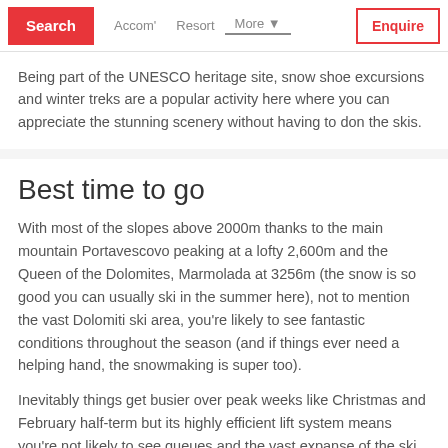Search  Accom'  Resort  More  Enquire
Being part of the UNESCO heritage site, snow shoe excursions and winter treks are a popular activity here where you can appreciate the stunning scenery without having to don the skis.
Best time to go
With most of the slopes above 2000m thanks to the main mountain Portavescovo peaking at a lofty 2,600m and the Queen of the Dolomites, Marmolada at 3256m (the snow is so good you can usually ski in the summer here), not to mention the vast Dolomiti ski area, you're likely to see fantastic conditions throughout the season (and if things ever need a helping hand, the snowmaking is super too).
Inevitably things get busier over peak weeks like Christmas and February half-term but its highly efficient lift system means you're not likely to see queues and the vast expanse of the ski area with fantastic links means the slopes are rarely crowded as skiers disperse across the mountains.